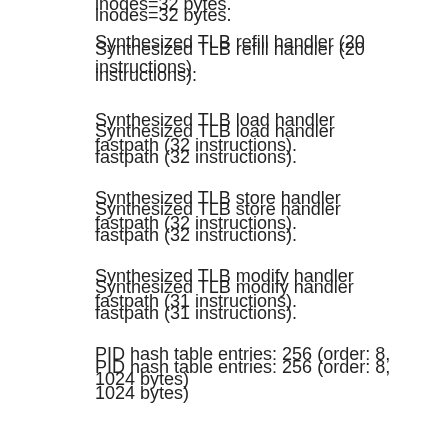lnodes=32 bytes.
Synthesized TLB refill handler (20 instructions).
Synthesized TLB load handler fastpath (32 instructions).
Synthesized TLB store handler fastpath (32 instructions).
Synthesized TLB modify handler fastpath (31 instructions).
PID hash table entries: 256 (order: 8, 1024 bytes)
CPU: BCM5357 rev 1 pkg 8 at 300 MHz
Using 150.000 MHz high precision timer.
console [ttyS0] enabled